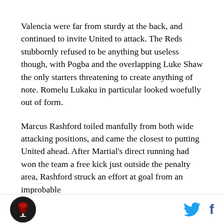Valencia were far from sturdy at the back, and continued to invite United to attack. The Reds stubbornly refused to be anything but useless though, with Pogba and the overlapping Luke Shaw the only starters threatening to create anything of note. Romelu Lukaku in particular looked woefully out of form.
Marcus Rashford toiled manfully from both wide attacking positions, and came the closest to putting United ahead. After Martial's direct running had won the team a free kick just outside the penalty area, Rashford struck an effort at goal from an improbable